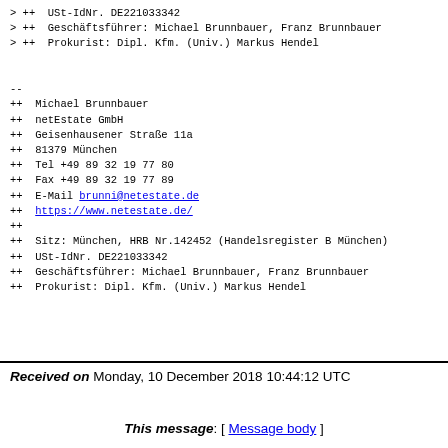> ++  USt-IdNr. DE221033342
> ++  Geschäftsführer: Michael Brunnbauer, Franz Brunnbauer
> ++  Prokurist: Dipl. Kfm. (Univ.) Markus Hendel


--
++  Michael Brunnbauer
++  netEstate GmbH
++  Geisenhausener Straße 11a
++  81379 München
++  Tel +49 89 32 19 77 80
++  Fax +49 89 32 19 77 89
++  E-Mail brunni@netestate.de
++  https://www.netestate.de/
++
++  Sitz: München, HRB Nr.142452 (Handelsregister B München)
++  USt-IdNr. DE221033342
++  Geschäftsführer: Michael Brunnbauer, Franz Brunnbauer
++  Prokurist: Dipl. Kfm. (Univ.) Markus Hendel
Received on Monday, 10 December 2018 10:44:12 UTC
This message: [ Message body ]